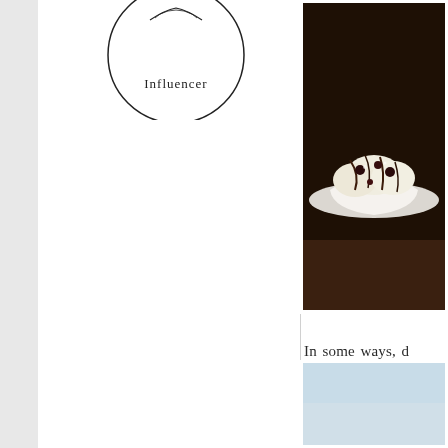[Figure (logo): Circular badge/logo with text 'Influencer' at the bottom and a decorative element at top, black outline circle on white background]
[Figure (photo): Food photo showing a dessert — appears to be ice cream or a pastry with chocolate drizzle on a white plate, dark restaurant background]
In some ways, d... hands have never...
[Figure (photo): Partial photo visible at bottom right, light blue/gray tones, appears to be an outdoor or sky scene]